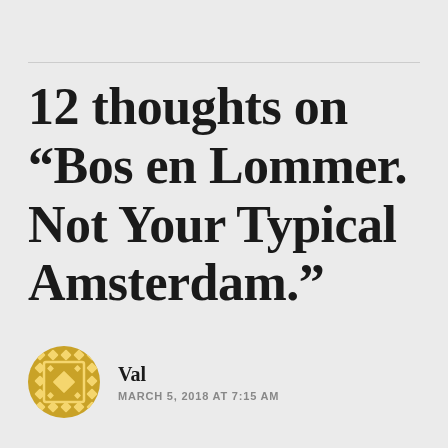12 thoughts on “Bos en Lommer. Not Your Typical Amsterdam.”
[Figure (logo): Circular golden/yellow decorative badge with a geometric diamond/diamond-grid pattern in the center, resembling a coat of arms or avatar icon]
Val
MARCH 5, 2018 AT 7:15 AM